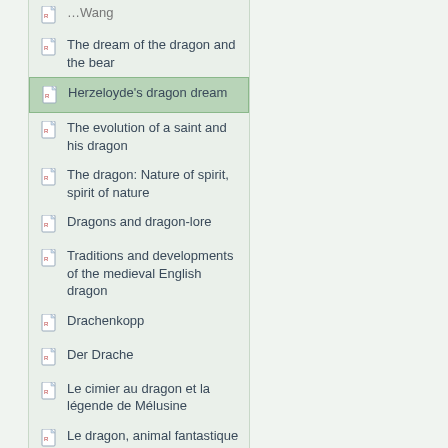…Wang
The dream of the dragon and the bear
Herzeloyde's dragon dream
The evolution of a saint and his dragon
The dragon: Nature of spirit, spirit of nature
Dragons and dragon-lore
Traditions and developments of the medieval English dragon
Drachenkopp
Der Drache
Le cimier au dragon et la légende de Mélusine
Le dragon, animal fantastique de la…